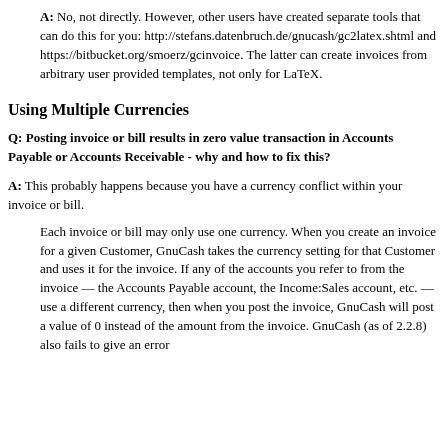A: No, not directly. However, other users have created separate tools that can do this for you: http://stefans.datenbruch.de/gnucash/gc2latex.shtml and https://bitbucket.org/smoerz/gcinvoice. The latter can create invoices from arbitrary user provided templates, not only for LaTeX.
Using Multiple Currencies
Q: Posting invoice or bill results in zero value transaction in Accounts Payable or Accounts Receivable - why and how to fix this?
A: This probably happens because you have a currency conflict within your invoice or bill.
Each invoice or bill may only use one currency. When you create an invoice for a given Customer, GnuCash takes the currency setting for that Customer and uses it for the invoice. If any of the accounts you refer to from the invoice — the Accounts Payable account, the Income:Sales account, etc. — use a different currency, then when you post the invoice, GnuCash will post a value of 0 instead of the amount from the invoice. GnuCash (as of 2.2.8) also fails to give an error...